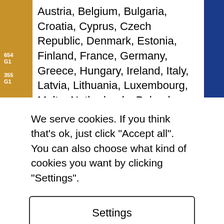[Figure (screenshot): Partial webpage screenshot showing a list of European countries and a partially visible image of shipping containers on the sides. Left side has an orange/gold vertical strip, right side has a blue vertical strip.]
Austria, Belgium, Bulgaria, Croatia, Cyprus, Czech Republic, Denmark, Estonia, Finland, France, Germany, Greece, Hungary, Ireland, Italy, Latvia, Lithuania, Luxembourg, Malta, Netherlands, Poland, Portugal, Romania, Slovakia, Slovenia, Spain, Sweden
We also sell new storage containers, residential
We serve cookies. If you think that's ok, just click "Accept all". You can also choose what kind of cookies you want by clicking "Settings".
Settings
Accept all